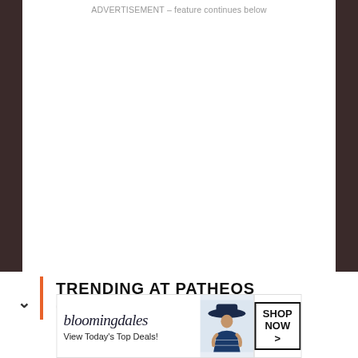ADVERTISEMENT – feature continues below
[Figure (photo): Dark background side panels flanking a white content area, part of a web page screenshot layout]
TRENDING AT PATHEOS CATHOLIC
[Figure (screenshot): Bloomingdale's advertisement banner: logo, 'View Today's Top Deals!', fashion model with hat, 'SHOP NOW >' button]